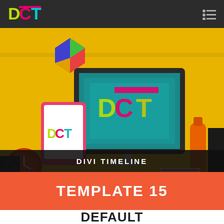DCT Logo and navigation bar
[Figure (screenshot): Hero image showing a yellow desk scene with a monitor displaying the DCT logo, a tablet, geometric sculpture, clock, and other items on a colorful desk setup.]
DIVI TIMELINE
TEMPLATE 15
DEFAULT